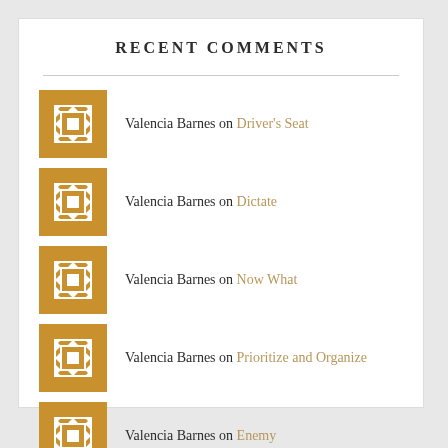RECENT COMMENTS
Valencia Barnes on Driver's Seat
Valencia Barnes on Dictate
Valencia Barnes on Now What
Valencia Barnes on Prioritize and Organize
Valencia Barnes on Enemy